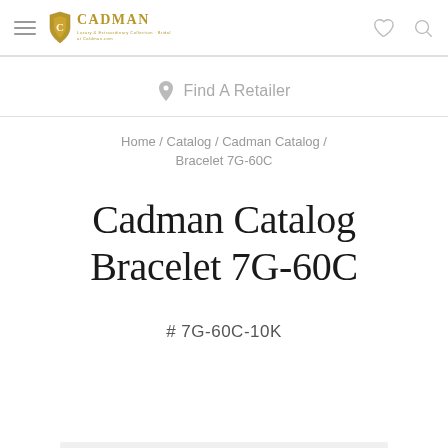Cadman — Find A Retailer navigation header
Find A Retailer
Home / Catalog / Cadman Catalog / Bracelet 7G-60C
Cadman Catalog Bracelet 7G-60C
# 7G-60C-10K